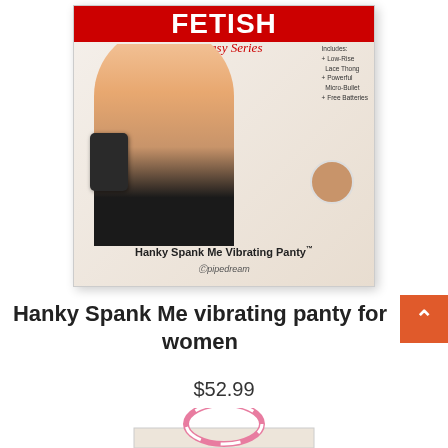[Figure (photo): Product packaging for Fetish Fantasy Series Hanky Spank Me Vibrating Panty by Pipedream. Box shows a woman on the front, a vibrating bullet, and text listing included items: Low-Rise Lace Thong, Powerful Micro-Bullet, Free Batteries.]
Hanky Spank Me vibrating panty for women
$52.99
[Figure (photo): Partial view of a second product - appears to be another Fetish Fantasy Series product with a pink ring accessory visible at the top.]